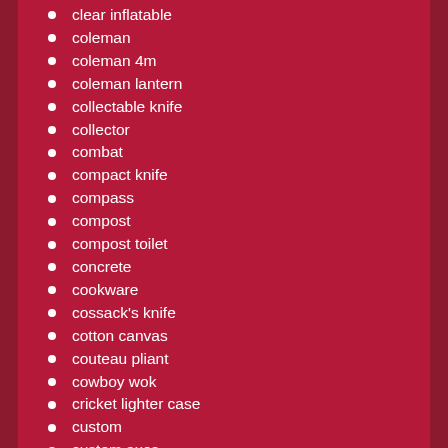clear inflatable
coleman
coleman 4m
coleman lantern
collectable knife
collector
combat
compact knife
compass
compost
compost toilet
concrete
cookware
cossack's knife
cotton canvas
couteau pliant
cowboy wok
cricket lighter case
custom
custom axes
custom bearded axe
custom handmade
custom knife
custom knife z10711
custom knives